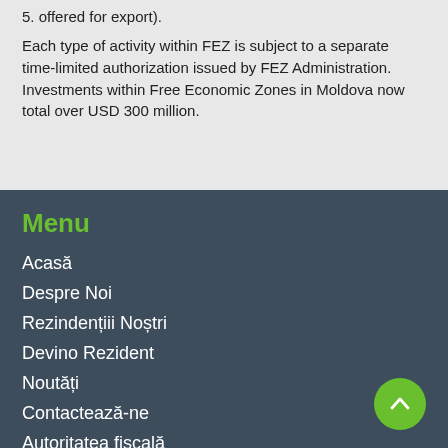5. offered for export).
Each type of activity within FEZ is subject to a separate time-limited authorization issued by FEZ Administration. Investments within Free Economic Zones in Moldova now total over USD 300 million.
Menu
Acasă
Despre Noi
Rezindențiii Noștri
Devino Rezident
Noutăți
Contactează-ne
Autoritatea fiscală